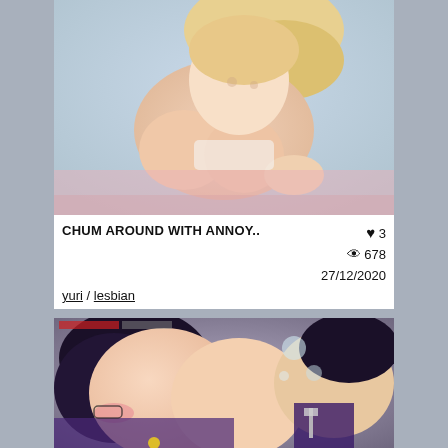[Figure (illustration): Anime illustration cropped, top card, showing two anime characters in close intimate pose with peach/pink tones]
CHUM AROUND WITH ANNOY..
yuri / lesbian
♥ 3
👁 678
27/12/2020
[Figure (illustration): Anime illustration cropped, bottom card, showing anime characters with dark hair and purple clothing in intimate pose]